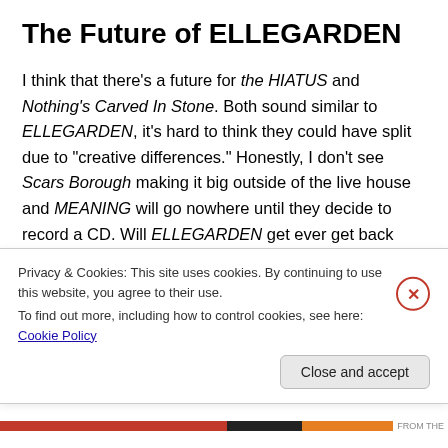The Future of ELLEGARDEN
I think that there's a future for the HIATUS and Nothing's Carved In Stone. Both sound similar to ELLEGARDEN, it's hard to think they could have split due to "creative differences." Honestly, I don't see Scars Borough making it big outside of the live house and MEANING will go nowhere until they decide to record a CD. Will ELLEGARDEN get ever get back together? Who knows.
Privacy & Cookies: This site uses cookies. By continuing to use this website, you agree to their use.
To find out more, including how to control cookies, see here: Cookie Policy
Close and accept